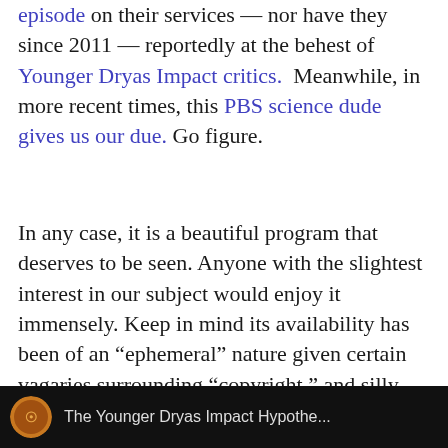episode on their services — nor have they since 2011 — reportedly at the behest of Younger Dryas Impact critics. Meanwhile, in more recent times, this PBS science dude gives us our due. Go figure.
In any case, it is a beautiful program that deserves to be seen. Anyone with the slightest interest in our subject would enjoy it immensely. Keep in mind its availability has been of an "ephemeral" nature given certain vagaries surrounding "copyright," and silly notions like that.
[Figure (screenshot): Black footer bar with a circular coin/logo icon on the left and partial text 'The Younger Dryas Impact Hypothe...' in light grey on a black background.]